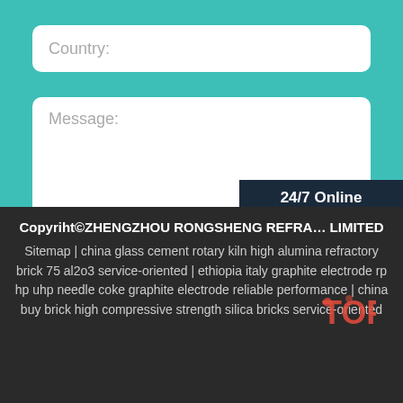Country:
Message:
Submit Now
[Figure (photo): 24/7 Online customer service panel with photo of female customer service representative wearing headset, with 'Click here for free chat!' text and QUOTATION button]
Copyriht©ZHENGZHOU RONGSHENG REFRA… LIMITED
Sitemap | china glass cement rotary kiln high alumina refractory brick 75 al2o3 service-oriented | ethiopia italy graphite electrode rp hp uhp needle coke graphite electrode reliable performance | china buy brick high compressive strength silica bricks service-oriented